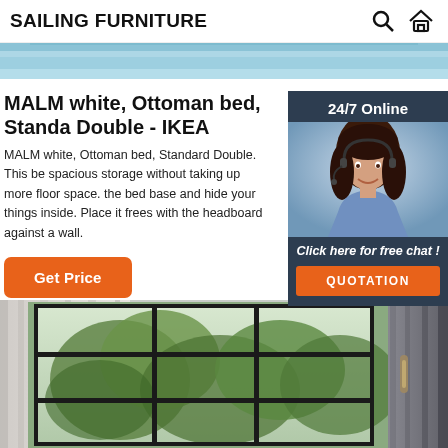SAILING FURNITURE
[Figure (photo): Partial banner photo of a bed with blue/teal bedding]
MALM white, Ottoman bed, Standard Double - IKEA
MALM white, Ottoman bed, Standard Double. This be spacious storage without taking up more floor space. the bed base and hide your things inside. Place it frees with the headboard against a wall.
[Figure (photo): 24/7 Online customer service representative - a woman with headset smiling, with 'Click here for free chat!' and QUOTATION button]
Get Price
[Figure (photo): Room interior showing a window with green trees outside, gray curtains, and a door handle]